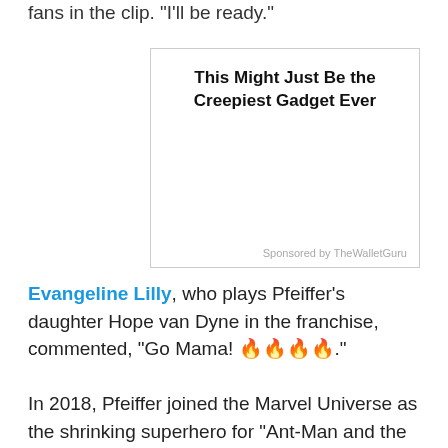fans in the clip. "I'll be ready."
[Figure (other): Advertisement box with title 'This Might Just Be the Creepiest Gadget Ever' and sponsored by TheWalletGuru label]
Evangeline Lilly, who plays Pfeiffer's daughter Hope van Dyne in the franchise, commented, "Go Mama! 🔥🔥🔥🔥."
In 2018, Pfeiffer joined the Marvel Universe as the shrinking superhero for "Ant-Man and the Wasp,"